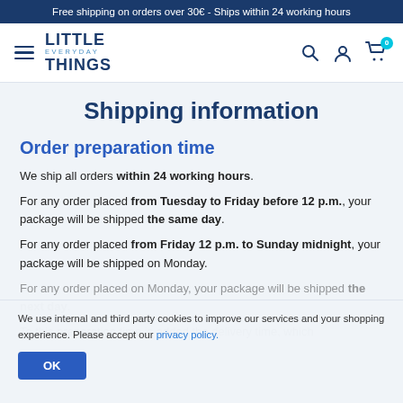Free shipping on orders over 30€ - Ships within 24 working hours
[Figure (logo): Little Everyday Things logo with hamburger menu, search, account, and cart icons in navigation bar]
Shipping information
Order preparation time
We ship all orders within 24 working hours.
For any order placed from Tuesday to Friday before 12 p.m., your package will be shipped the same day.
For any order placed from Friday 12 p.m. to Sunday midnight, your package will be shipped on Monday.
For any order placed on Monday, your package will be shipped the next day.
To this preparation time is added the delivery time, which
We use internal and third party cookies to improve our services and your shopping experience. Please accept our privacy policy.